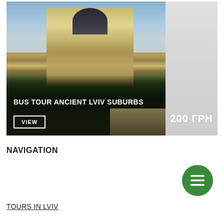[Figure (photo): Aerial view of ancient Lviv architecture, a baroque church/cathedral building surrounded by trees and historic buildings under cloudy sky]
BUS TOUR ANCIENT LVIV SUBURBS
VIEW
200 ГРН
NAVIGATION
≡ (hamburger menu button)
TOURS IN LVIV